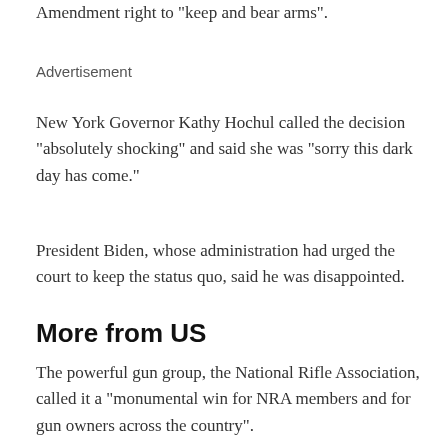Amendment right to “keep and bear arms”.
Advertisement
New York Governor Kathy Hochul called the decision “absolutely shocking” and said she was “sorry this dark day has come.”
President Biden, whose administration had urged the court to keep the status quo, said he was disappointed.
More from US
The powerful gun group, the National Rifle Association, called it a “monumental win for NRA members and for gun owners across the country”.